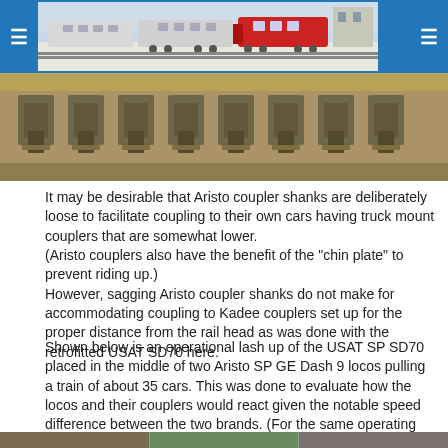≡  [train photo]  ≡
[Figure (photo): Close-up photo of model train coupler shanks on a track, showing multiple couplers in a row from an overhead/side angle. The image has warm brown/tan tones suggesting wooden/metal coupler hardware.]
It may be desirable that Aristo coupler shanks are deliberately loose to facilitate coupling to their own cars having truck mount couplers that are somewhat lower.
(Aristo couplers also have the benefit of the "chin plate" to prevent riding up.)
However, sagging Aristo coupler shanks do not make for accommodating coupling to Kadee couplers set up for the proper distance from the rail head as was done with the retrofitted USAT SD70 here.
Shown below is an operational lash up of the USAT SP SD70 placed in the middle of two Aristo SP GE Dash 9 locos pulling a train of about 35 cars. This was done to evaluate how the locos and their couplers would react given the notable speed difference between the two brands. (For the same operating voltage, the SD70 is notably faster than the Dash 9s.)
[Figure (photo): Three-panel photo strip at the bottom showing operational lash-up of USAT SP SD70 locomotive with Aristo SP GE Dash 9 locos.]